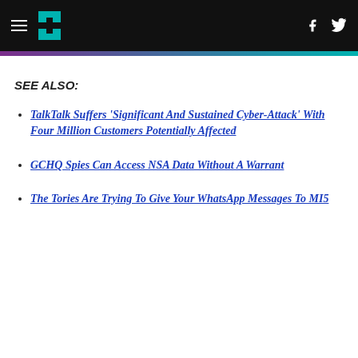HuffPost header with navigation and social icons
SEE ALSO:
TalkTalk Suffers 'Significant And Sustained Cyber-Attack' With Four Million Customers Potentially Affected
GCHQ Spies Can Access NSA Data Without A Warrant
The Tories Are Trying To Give Your WhatsApp Messages To MI5